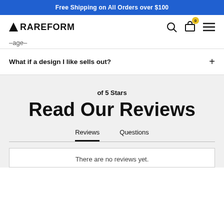Free Shipping on All Orders over $100
[Figure (logo): RAREFORM logo with triangle icon]
–age–
What if a design I like sells out?
of 5 Stars
Read Our Reviews
Reviews   Questions
There are no reviews yet.